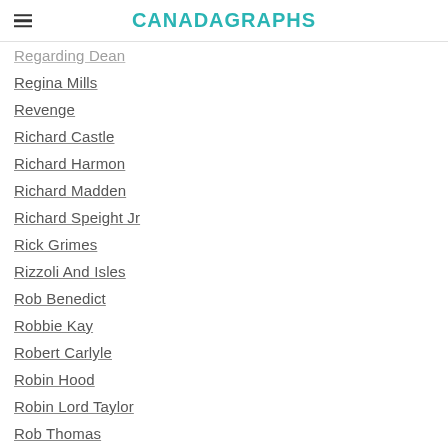CANADAGRAPHS
Regarding Dean
Regina Mills
Revenge
Richard Castle
Richard Harmon
Richard Madden
Richard Speight Jr
Rick Grimes
Rizzoli And Isles
Rob Benedict
Robbie Kay
Robert Carlyle
Robin Hood
Robin Lord Taylor
Rob Thomas